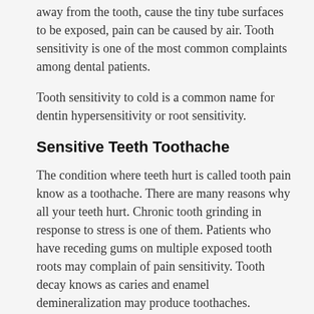away from the tooth, cause the tiny tube surfaces to be exposed, pain can be caused by air. Tooth sensitivity is one of the most common complaints among dental patients.
Tooth sensitivity to cold is a common name for dentin hypersensitivity or root sensitivity.
Sensitive Teeth Toothache
The condition where teeth hurt is called tooth pain know as a toothache. There are many reasons why all your teeth hurt. Chronic tooth grinding in response to stress is one of them. Patients who have receding gums on multiple exposed tooth roots may complain of pain sensitivity. Tooth decay knows as caries and enamel demineralization may produce toothaches.
People with eating disorders and acid reflux conditions may dissolve away their tooth enamel